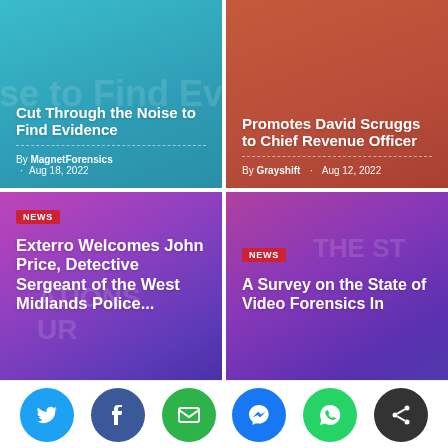[Figure (other): Teal colored card with article title 'Cut Through the Noise to Find Evidence' by MagnetForensics, Aug 18, 2022]
[Figure (other): Red/brown colored card with article title 'Promotes David Scruggs to Chief Revenue Officer' by Grayshift, Aug 12, 2022]
[Figure (other): Purple gradient card with NEWS badge and title 'Exterro Welcomes John Price, Detective Sergeant of the West Midlands Police...']
[Figure (other): Purple gradient card with NEWS badge and title 'A Survey on the State of Video Forensics In...']
[Figure (other): Social share bar with Twitter, Facebook, Email, Messenger, WhatsApp, and Share buttons]